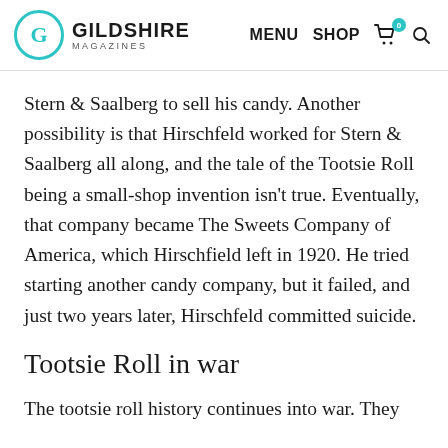Gildshire Magazines | MENU SHOP
Stern & Saalberg to sell his candy. Another possibility is that Hirschfeld worked for Stern & Saalberg all along, and the tale of the Tootsie Roll being a small-shop invention isn't true. Eventually, that company became The Sweets Company of America, which Hirschfield left in 1920. He tried starting another candy company, but it failed, and just two years later, Hirschfeld committed suicide.
Tootsie Roll in war
The tootsie roll history continues into war. They